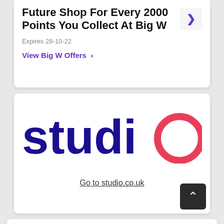Future Shop For Every 2000 Points You Collect At Big W
Expires 28-10-22
View Big W Offers >
[Figure (logo): Studio logo with dark blue 'studi' and red 'o' circle letter]
Go to studio.co.uk
Studio all discounts information
Total   20